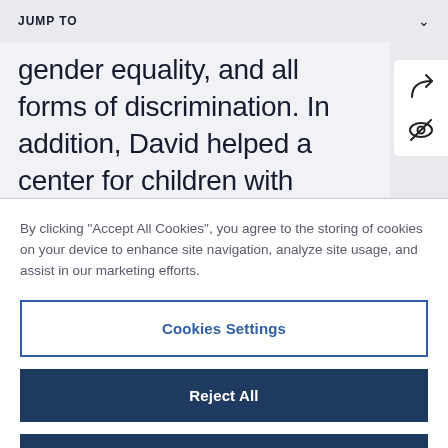JUMP TO
gender equality, and all forms of discrimination. In addition, David helped a center for children with disabilities with organizational development while also training youth and college students about employment
By clicking "Accept All Cookies", you agree to the storing of cookies on your device to enhance site navigation, analyze site usage, and assist in our marketing efforts.
Cookies Settings
Reject All
Accept All Cookies